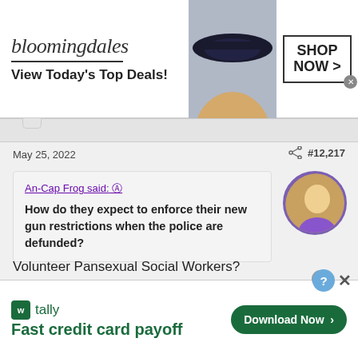[Figure (screenshot): Bloomingdale's advertisement banner: logo, 'View Today's Top Deals!', woman with hat, 'SHOP NOW >' button]
May 25, 2022
#12,217
An-Cap Frog said: ↑
How do they expect to enforce their new gun restrictions when the police are defunded?
[Figure (photo): Circular avatar photo of a blonde woman smiling, wearing a purple top]
Volunteer Pansexual Social Workers?
Reply
[Figure (screenshot): Tally app advertisement: 'Fast credit card payoff', 'Download Now >' button]